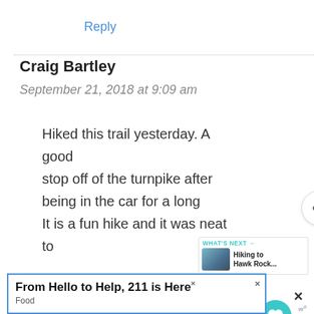Reply
Craig Bartley
September 21, 2018 at 9:09 am
Hiked this trail yesterday. A good stop off of the turnpike after being in the car for a long It is a fun hike and it was neat to
[Figure (screenshot): Heart/like button (teal circle with heart icon) and share button, with 7K count label]
[Figure (infographic): What's Next panel with thumbnail image and text 'Hiking to Hawk Rock...']
From Hello to Help, 211 is Here
Food